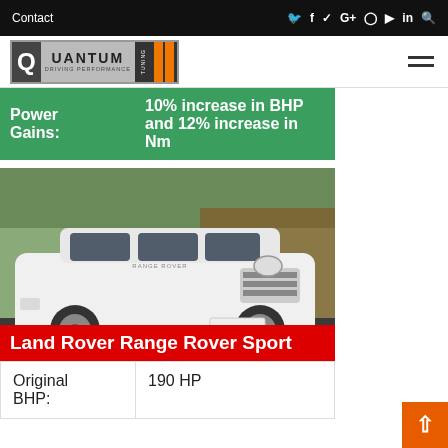Contact  f  t  G+  Instagram  YouTube  in  Search
[Figure (logo): Quantum Tuning - Driving Performance logo with orange stripes]
| Power Gains: | 10% increase in BHP and 12% increase in Nm |
| --- | --- |
[Figure (photo): White Land Rover Range Rover Sport parked on street with red banner caption]
Land Rover Range Rover Sport
| Original BHP: | 190 HP |